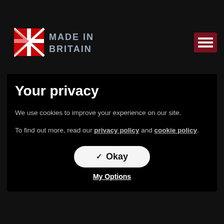Made in Britain
[Figure (logo): Made in Britain logo with Union Jack flag motif and text MADE IN BRITAIN, with hamburger menu icon on right]
Track your Racking ❖ UCBike ❖ UCTri Rear Seat Roof Bars ❖ UCTri Lock ❖ UCTri Cross ❖ UCTri Rack ❖ UCTri Ratchet Strap ❖ Van Bulkheads ❖ Van Guard ❖ Van Guard Locks ❖ Van Hasp Locks ❖ Van Ladder Locks ❖ Car Racks ❖ Van Seat Covers ❖ Van Slam handles ❖ Van Shu Locks ❖ Van Tool Storage ❖ Van Window Grilles
Your privacy
We use cookies to improve your experience on our site.
To find out more, read our privacy policy and cookie policy.
✔ Okay
My Options